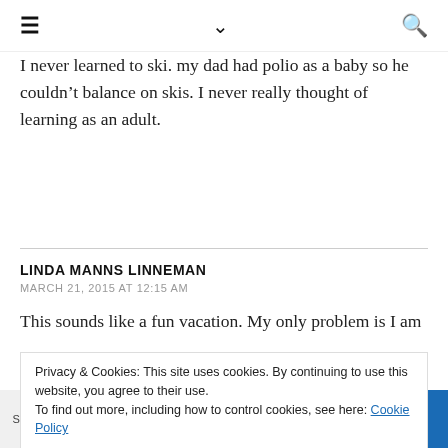≡  ∨  🔍
I never learned to ski. my dad had polio as a baby so he couldn't balance on skis. I never really thought of learning as an adult.
LINDA MANNS LINNEMAN
MARCH 21, 2015 AT 12:15 AM
This sounds like a fun vacation. My only problem is I am
Privacy & Cookies: This site uses cookies. By continuing to use this website, you agree to their use.
To find out more, including how to control cookies, see here: Cookie Policy
Shares | f | t | G+ | P | in | print | crown